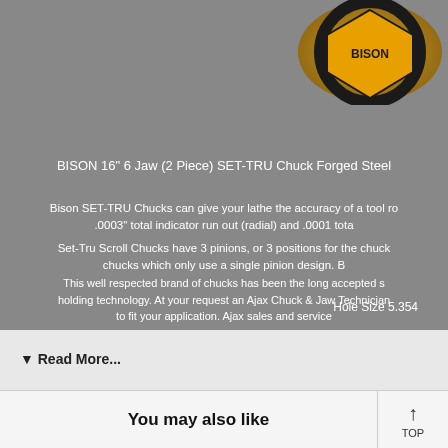[Figure (logo): Bison brand logo — gold/orange shield with black gear border and 'BISON' text]
BISON 16" 6 Jaw (2 Piece) SET-TRU Chuck Forged Steel
Bison SET-TRU Chucks can give your lathe the accuracy of a tool ro... .0003" total indicator run out (radial) and .0001 tota...
Set-Tru Scroll Chucks have 3 pinions, or 3 positions for the chuck... chucks which only use a single pinion design. B...
This well respected brand of chucks has been the long accepted s... holding technology. At your request an Ajax Chuck & Jaw Technician... to fit your application. Ajax sales and service...
Hole Size 5.354
▼ Read More...
You may also like